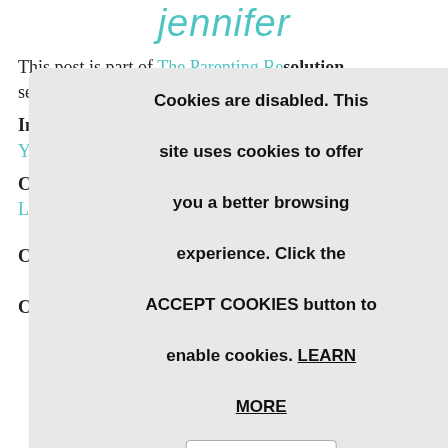[Figure (logo): Cursive teal script logo reading 'jennifer']
This post is part of The Parenting Resolution series. The entire series is here:
Introduction: The Parenting Resolution: Make This Year the Best Year
Challenge #1: The Parenting Resolution: Creating a Learning...
Challenge #2: How to Stop Yelling at Your Kids
Challenge #3: How to Say More Yes and Less No
[Figure (screenshot): Cookie consent modal dialog with text: Cookies are disabled. This site uses cookies to offer you a better browsing experience. Click the ACCEPT COOKIES button to enable cookies. LEARN MORE. With an ACCEPT COOKIES button.]